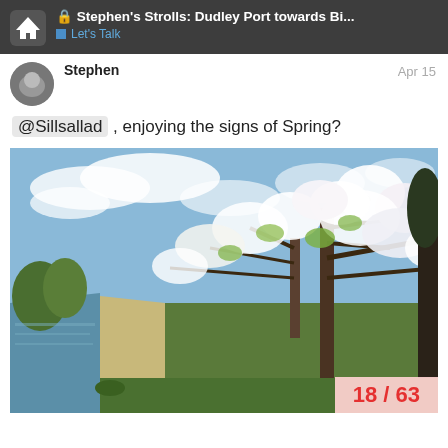Stephen's Strolls: Dudley Port towards Bi... | Let's Talk
Stephen   Apr 15
@Sillsallad , enjoying the signs of Spring?
[Figure (photo): Canal path with spring blossom trees on the right, a towpath running alongside the water into the distance, surrounded by greenery and a blue sky with clouds.]
18 / 63